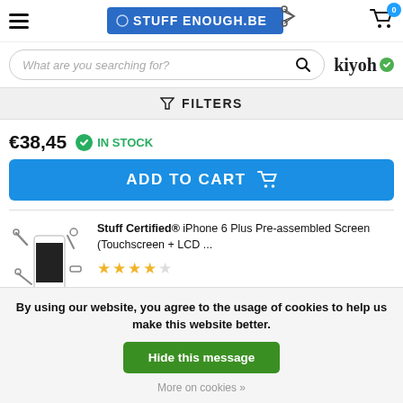[Figure (screenshot): StuffEnough.be e-commerce website header with hamburger menu, logo, and cart icon showing 0 items]
What are you searching for?
[Figure (logo): kiyoh logo with green checkmark badge]
FILTERS
€38,45
IN STOCK
ADD TO CART
[Figure (photo): iPhone 6 Plus pre-assembled screen product image with parts]
Stuff Certified® iPhone 6 Plus Pre-assembled Screen (Touchscreen + LCD ...
Cookie banner: By using our website, you agree to the usage of cookies to help us make this website better.
Hide this message
More on cookies »